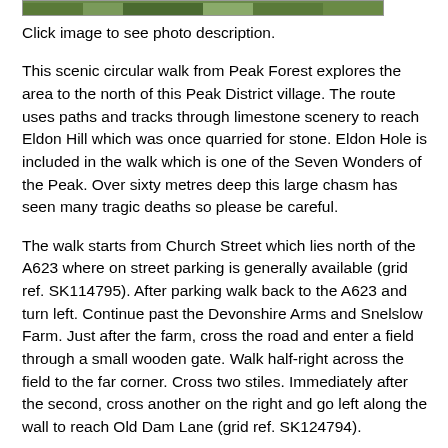[Figure (photo): Partial view of a landscape/nature photograph showing green trees and vegetation — only the bottom strip is visible at the top of the page.]
Click image to see photo description.
This scenic circular walk from Peak Forest explores the area to the north of this Peak District village. The route uses paths and tracks through limestone scenery to reach Eldon Hill which was once quarried for stone. Eldon Hole is included in the walk which is one of the Seven Wonders of the Peak. Over sixty metres deep this large chasm has seen many tragic deaths so please be careful.
The walk starts from Church Street which lies north of the A623 where on street parking is generally available (grid ref. SK114795). After parking walk back to the A623 and turn left. Continue past the Devonshire Arms and Snelslow Farm. Just after the farm, cross the road and enter a field through a small wooden gate. Walk half-right across the field to the far corner. Cross two stiles. Immediately after the second, cross another on the right and go left along the wall to reach Old Dam Lane (grid ref. SK124794).